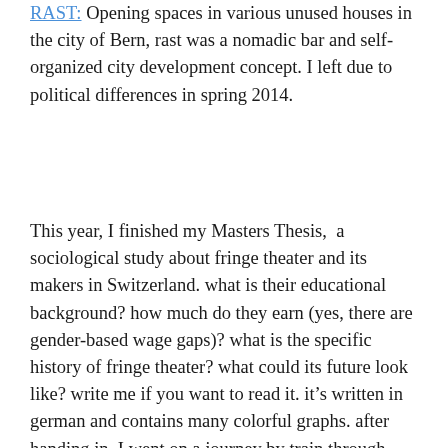RAST: Opening spaces in various unused houses in the city of Bern, rast was a nomadic bar and self-organized city development concept. I left due to political differences in spring 2014.
This year, I finished my Masters Thesis,  a sociological study about fringe theater and its makers in Switzerland. what is their educational background? how much do they earn (yes, there are gender-based wage gaps)? what is the specific history of fringe theater? what could its future look like? write me if you want to read it. it's written in german and contains many colorful graphs. after handing in, I went on a journey by train through eastern europe, all the way down to Istanbul.